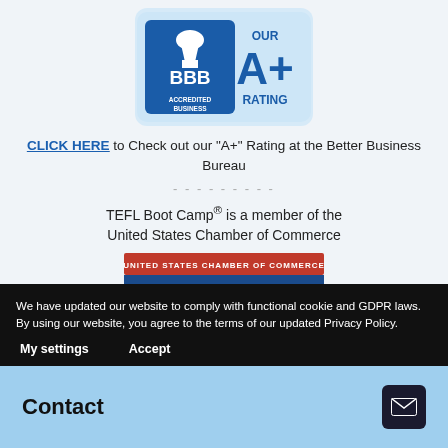[Figure (logo): BBB Accredited Business A+ Rating badge, blue and white logo]
CLICK HERE to Check out our "A+" Rating at the Better Business Bureau
---------
TEFL Boot Camp® is a member of the United States Chamber of Commerce
[Figure (logo): United States Chamber of Commerce Accredited badge, red and blue with gold stars]
We have updated our website to comply with functional cookie and GDPR laws. By using our website, you agree to the terms of our updated Privacy Policy.
My settings
Accept
Contact